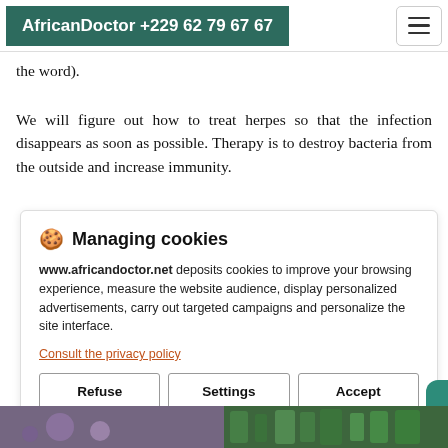AfricanDoctor +229 62 79 67 67
the word).
We will figure out how to treat herpes so that the infection disappears as soon as possible. Therapy is to destroy bacteria from the outside and increase immunity.
🍪 Managing cookies
www.africandoctor.net deposits cookies to improve your browsing experience, measure the website audience, display personalized advertisements, carry out targeted campaigns and personalize the site interface.
Consult the privacy policy
Refuse | Settings | Accept
[Figure (photo): Bottom strip showing partial images of herbs and plants]